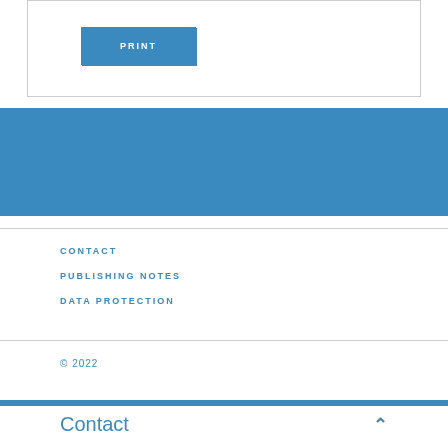PRINT
CONTACT
PUBLISHING NOTES
DATA PROTECTION
© 2022
Contact